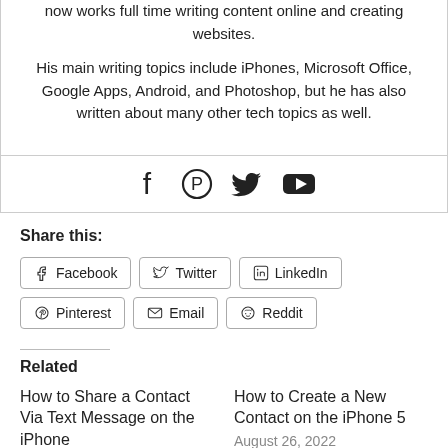now works full time writing content online and creating websites.
His main writing topics include iPhones, Microsoft Office, Google Apps, Android, and Photoshop, but he has also written about many other tech topics as well.
[Figure (other): Social media icons: Facebook, Pinterest, Twitter, YouTube]
Share this:
Facebook | Twitter | LinkedIn | Pinterest | Email | Reddit
Related
How to Share a Contact Via Text Message on the iPhone
August 12, 2022
How to Create a New Contact on the iPhone 5
August 26, 2022
In "Mobile"